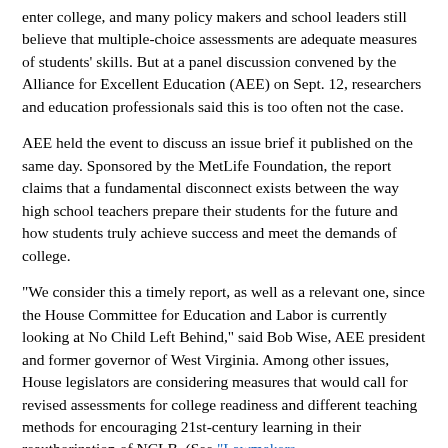enter college, and many policy makers and school leaders still believe that multiple-choice assessments are adequate measures of students' skills. But at a panel discussion convened by the Alliance for Excellent Education (AEE) on Sept. 12, researchers and education professionals said this is too often not the case.
AEE held the event to discuss an issue brief it published on the same day. Sponsored by the MetLife Foundation, the report claims that a fundamental disconnect exists between the way high school teachers prepare their students for the future and how students truly achieve success and meet the demands of college.
"We consider this a timely report, as well as a relevant one, since the House Committee for Education and Labor is currently looking at No Child Left Behind," said Bob Wise, AEE president and former governor of West Virginia. Among other issues, House legislators are considering measures that would call for revised assessments for college readiness and different teaching methods for encouraging 21st-century learning in their reauthorization of NCLB. (See "Lawmakers